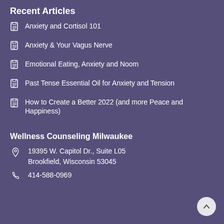Recent Articles
Anxiety and Cortisol 101
Anxiety & Your Vagus Nerve
Emotional Eating, Anxiety and Noom
Past Tense Essential Oil for Anxiety and Tension
How to Create a Better 2022 (and more Peace and Happiness)
Wellness Counseling Milwaukee
19395 W. Capitol Dr., Suite L05
Brookfield, Wisconsin 53045
414-588-0969